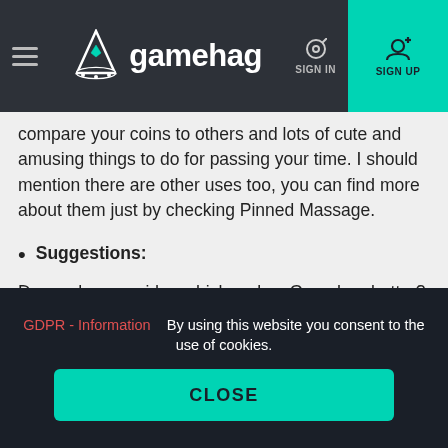gamehag — SIGN IN / SIGN UP header navigation
compare your coins to others and lots of cute and amusing things to do for passing your time. I should mention there are other uses too, you can find more about them just by checking Pinned Massage.
Suggestions:
Do you have an idea which makes Gamehag better? Send it here and see others like your idea or not, some ideas like: Doing giveaway for chests or add a specific reward which you want to see in Gamehag and more. You can also offer your suggestions to Misty directly through
GDPR - Information   By using this website you consent to the use of cookies.
CLOSE